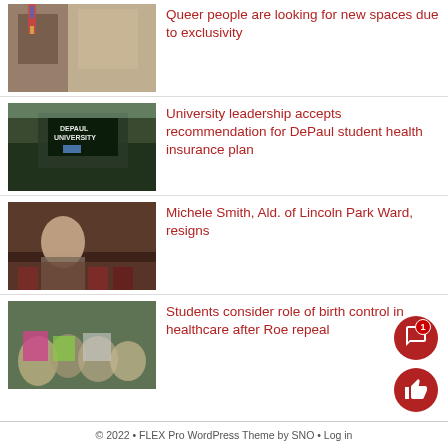[Figure (photo): Storefront with rainbow flag and brick building exterior]
Queer people are looking for new spaces due to exclusivity
[Figure (photo): DePaul University sign outdoors with trees]
University leadership accepts recommendation for DePaul student health insurance plan
[Figure (photo): Michele Smith speaking at a podium with audience in background]
Michele Smith, Ald. of Lincoln Park Ward, resigns
[Figure (photo): Crowd of protesters at a rally, some holding signs]
Students consider role of birth control in healthcare after Roe repeal
© 2022 • FLEX Pro WordPress Theme by SNO • Log in